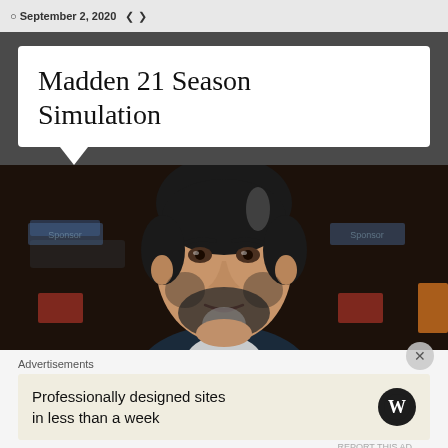September 2, 2020
Madden 21 Season Simulation
[Figure (photo): Close-up photo of a man with dark hair, beard and grey-streaked goatee in a suit, speaking at an event with sponsor logos in the background]
Advertisements
Professionally designed sites in less than a week